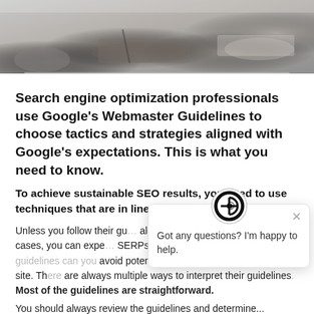[Figure (photo): Banner photo of hands working at a desk with a notebook and pen, blurred background, grey tones]
Search engine optimization professionals use Google’s Webmaster Guidelines to choose tactics and strategies aligned with Google’s expectations. This is what you need to know.
To achieve sustainable SEO results, you need to use techniques that are in line with Google’s expectations.
Unless you follow their gu… algorithmic devaluation o… severe cases, you can expe… SERPs. Only by fully understanding the guidelines can you avoid potential pitfalls and future harm to your site. There are always multiple ways to interpret their guidelines. Most of the guidelines are straightforward.
[Figure (other): Chat widget popup with a circular logo icon at top, close X button, and message text: Got any questions? I’m happy to help. Also a dark blue circular chat button at bottom right.]